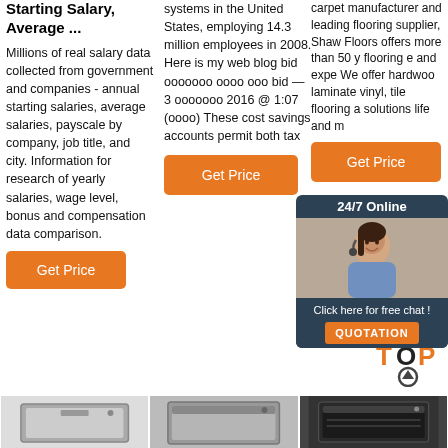Starting Salary, Average ...
Millions of real salary data collected from government and companies - annual starting salaries, average salaries, payscale by company, job title, and city. Information for research of yearly salaries, wage level, bonus and compensation data comparison.
Get Price
systems in the United States, employing 14.3 million employees in 2008. Here is my web blog bid ооооооо оооо ооо bid — 3 оооооо 2016 @ 1:07 (оооо) These cost savings accounts permit both tax
Get Price
carpet manufacturer and leading flooring supplier, Shaw Floors offers more than 50 y flooring e and expe We offer hardwoo laminate vinyl, tile flooring a solutions life and m
Get Price
[Figure (other): 24/7 online chat widget with female agent photo, 'Click here for free chat!' text and QUOTATION button]
[Figure (other): TOP scroll-to-top button with orange dots and upward arrow]
[Figure (photo): Dishwasher appliance image 1]
[Figure (photo): Dishwasher appliance image 2]
[Figure (photo): Dishwasher appliance image 3 dark background]